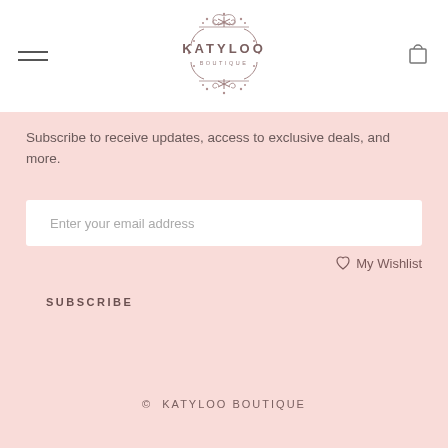[Figure (logo): Katyloo Boutique decorative logo with ornamental flourishes and dots]
Subscribe to receive updates, access to exclusive deals, and more.
Enter your email address
♡ My Wishlist
SUBSCRIBE
© KATYLOO BOUTIQUE